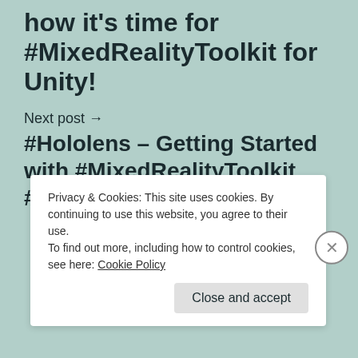how it's time for #MixedRealityToolkit for Unity!
Next post →
#Hololens – Getting Started with #MixedRealityToolkit #MRToolkit
Privacy & Cookies: This site uses cookies. By continuing to use this website, you agree to their use.
To find out more, including how to control cookies, see here: Cookie Policy
Close and accept